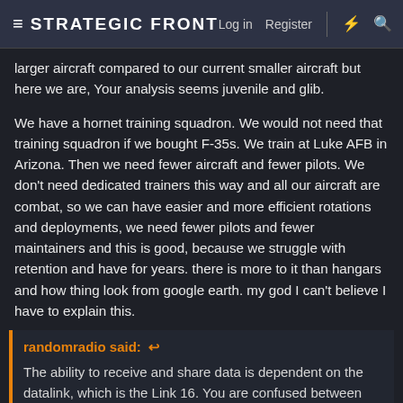STRATEGIC FRONT  Log in  Register
larger aircraft compared to our current smaller aircraft but here we are, Your analysis seems juvenile and glib.
We have a hornet training squadron. We would not need that training squadron if we bought F-35s. We train at Luke AFB in Arizona. Then we need fewer aircraft and fewer pilots. We don't need dedicated trainers this way and all our aircraft are combat, so we can have easier and more efficient rotations and deployments, we need fewer pilots and fewer maintainers and this is good, because we struggle with retention and have for years. there is more to it than hangars and how thing look from google earth. my god I can't believe I have to explain this.
randomradio said: ↩
The ability to receive and share data is dependent on the datalink, which is the Link 16. You are confused between capability interoperability. Even the Mig-21 can use the F-35's data wi Link 16.